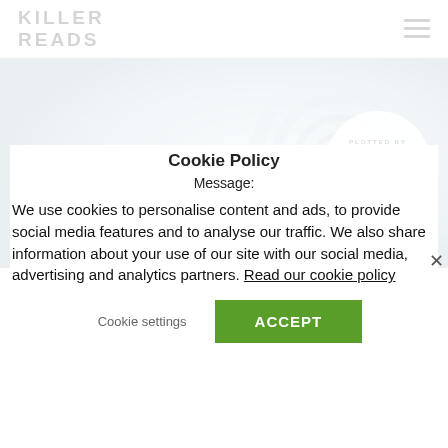KILLER READS (logo) | hamburger menu
[Figure (illustration): Killer Crime Festival 2015 banner image with shattered glass / spiral background in blue-grey tones, with 'KILLER CRIME FESTIVAL 2015' text overlay, '13th & 14th May', '#KILLERFEST15', and 'Plotted by Waterstones' logo circle on the right.]
Cookie Policy
Message:
We use cookies to personalise content and ads, to provide social media features and to analyse our traffic. We also share information about your use of our site with our social media, advertising and analytics partners. Read our cookie policy